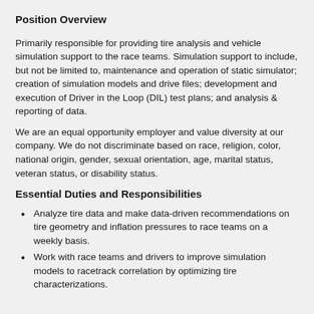Position Overview
Primarily responsible for providing tire analysis and vehicle simulation support to the race teams.  Simulation support to include, but not be limited to, maintenance and operation of static simulator; creation of simulation models and drive files; development and execution of Driver in the Loop (DIL) test plans; and analysis & reporting of data.
We are an equal opportunity employer and value diversity at our company. We do not discriminate based on race, religion, color, national origin, gender, sexual orientation, age, marital status, veteran status, or disability status.
Essential Duties and Responsibilities
Analyze tire data and make data-driven recommendations on tire geometry and inflation pressures to race teams on a weekly basis.
Work with race teams and drivers to improve simulation models to racetrack correlation by optimizing tire characterizations.